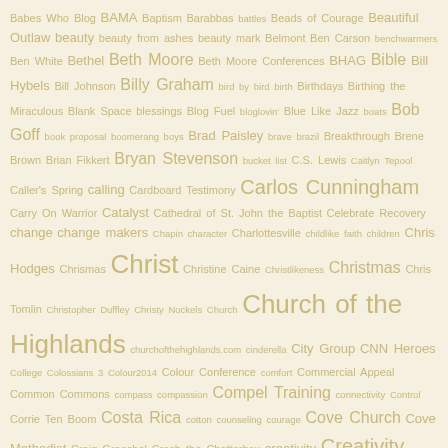Tag cloud with topics including: Babes Who Blog, BAMA, Baptism, Barabbas, battles, Beads of Courage, Beautiful Outlaw, beauty, beauty from ashes, beauty mark, Belmont, Ben Carson, benchwarmers, Ben White, Bethel, Beth Moore, Beth Moore Conferences, BHAG, Bible, Bill Hybels, Bill Johnson, Billy Graham, bird by bird, birth, Birthdays, Birthing the Miraculous, Blank Space, blessings, Blog Fuel, bloglovin', Blue Like Jazz, boats, Bob Goff, book proposal, boomerang boys, Brad Paisley, brave, brazil, Breakthrough, Brene Brown, Brian Fikkert, Bryan Stevenson, bucket list, C.S. Lewis, Caitlyn Tepool, Caller's Spring, calling, Cardboard Testimony, Carlos Cunningham, Carry On Warrior, Catalyst, Cathedral of St. John the Baptist, Celebrate Recovery, change, change makers, Chapin, character, Charlottesville, childlike faith, children, Chris Hodges, Chrismas, Christ, Christine Caine, Christlikeness, Christmas, Chris Tomlin, Christopher Duffley, Christy Nockels, Church, Church of the Highlands, churchofthehighlands.com, cinderella, City Group, CNN Heroes, College, Colossians 3, Colour2014, Colour Conference, comfort, Commercial Appeal, Common Commons, compass, compassion, Compel Training, connectivity, Control, Corrie Ten Boom, Costa Rica, cotton, counseling, courage, Cove Church, Cove Methodist, Craig Groeshel, Crash the Chatterbox, creativity, Creativity, Crocus, cross gallery, cross paintings, Cross Wall, CS Lewis, custom made, Daughter, Davidson Farms-A Home for Girls, Deanna Wood, debutants, deliverance, depression, Devotional, Devotional Writing Challenge, diary, discrimination, diversity, divine destiny, donald miller, Donald Trump